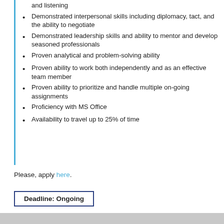and listening
Demonstrated interpersonal skills including diplomacy, tact, and the ability to negotiate
Demonstrated leadership skills and ability to mentor and develop seasoned professionals
Proven analytical and problem-solving ability
Proven ability to work both independently and as an effective team member
Proven ability to prioritize and handle multiple on-going assignments
Proficiency with MS Office
Availability to travel up to 25% of time
Please, apply here.
Deadline: Ongoing